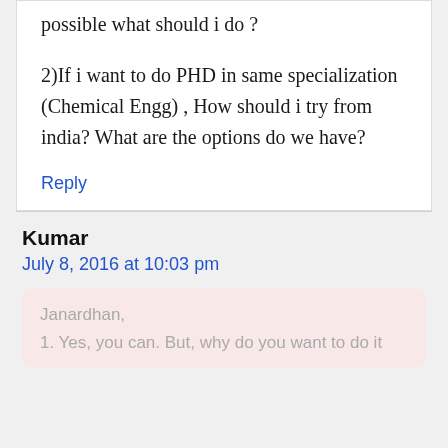possible what should i do?

2)If i want to do PHD in same specialization (Chemical Engg), How should i try from india? What are the options do we have?
Reply
Kumar
July 8, 2016 at 10:03 pm
Janardhan,

1. Yes, you can. But, why do you want to do it